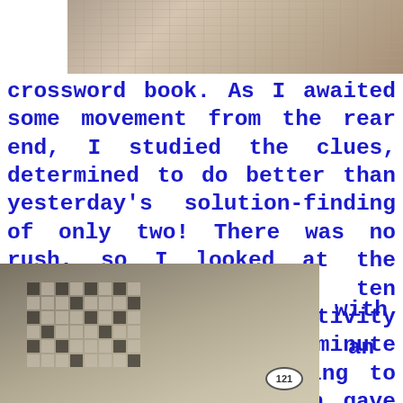[Figure (photo): Top portion of a crossword puzzle book being held, showing grid and clues]
crossword book. As I awaited some movement from the rear end, I studied the clues, determined to do better than yesterday's solution-finding of only two! There was no rush, so I looked at the options for a good ten minutes. Then the activity started… and stopped a minute later – solidly refusing to recommence again! Which gave me another ten minutes or so of puzzle-solving. Well, that's not strictly true… I didn't get one answer! But I persevered, with an
[Figure (photo): Bottom portion showing a spiral-bound crossword puzzle book open to puzzle 121, held in hands]